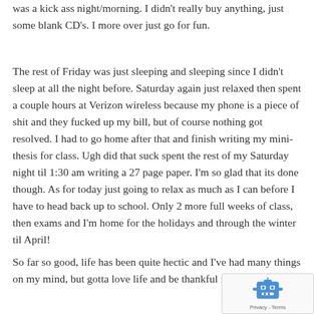was a kick ass night/morning. I didn't really buy anything, just some blank CD's. I more over just go for fun.
The rest of Friday was just sleeping and sleeping since I didn't sleep at all the night before. Saturday again just relaxed then spent a couple hours at Verizon wireless because my phone is a piece of shit and they fucked up my bill, but of course nothing got resolved. I had to go home after that and finish writing my mini-thesis for class. Ugh did that suck spent the rest of my Saturday night til 1:30 am writing a 27 page paper. I'm so glad that its done though. As for today just going to relax as much as I can before I have to head back up to school. Only 2 more full weeks of class, then exams and I'm home for the holidays and through the winter til April!
So far so good, life has been quite hectic and I've had many things on my mind, but gotta love life and be thankful for
[Figure (other): reCAPTCHA widget overlay showing a robot icon and 'Privacy - Terms' text]